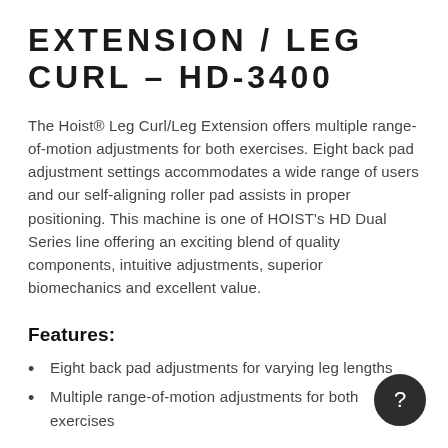EXTENSION / LEG CURL – HD-3400
The Hoist® Leg Curl/Leg Extension offers multiple range-of-motion adjustments for both exercises. Eight back pad adjustment settings accommodates a wide range of users and our self-aligning roller pad assists in proper positioning. This machine is one of HOIST's HD Dual Series line offering an exciting blend of quality components, intuitive adjustments, superior biomechanics and excellent value.
Features:
Eight back pad adjustments for varying leg lengths
Multiple range-of-motion adjustments for both exercises